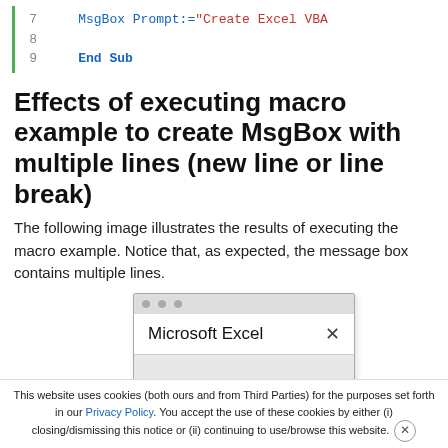[Figure (screenshot): Code snippet showing lines 7-9 of VBA macro: line 7 shows 'MsgBox Prompt:="Create Excel VBA', line 8 is blank, line 9 shows 'End Sub' in bold blue. Left border is green.]
Effects of executing macro example to create MsgBox with multiple lines (new line or line break)
The following image illustrates the results of executing the macro example. Notice that, as expected, the message box contains multiple lines.
[Figure (screenshot): Microsoft Excel dialog box with title 'Microsoft Excel' and a close (X) button, body area is gray (content cut off).]
This website uses cookies (both ours and from Third Parties) for the purposes set forth in our Privacy Policy. You accept the use of these cookies by either (i) closing/dismissing this notice or (ii) continuing to use/browse this website.